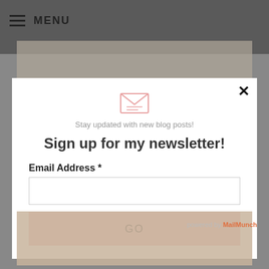≡ MENU
[Figure (illustration): Pink envelope icon with lines suggesting a newsletter/email symbol]
Stay updated with new blog posts!
Sign up for my newsletter!
Email Address *
GO
powered by MailMunch